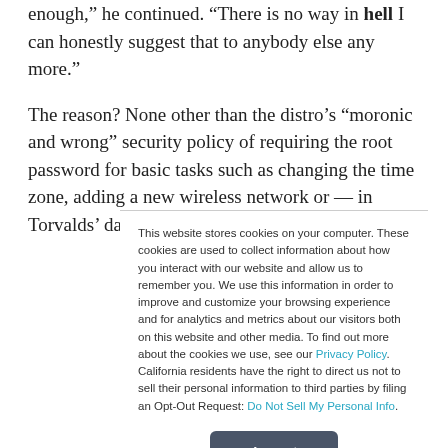enough,” he continued. “There is no way in hell I can honestly suggest that to anybody else any more.”
The reason? None other than the distro’s “moronic and wrong” security policy of requiring the root password for basic tasks such as changing the time zone, adding a new wireless network or — in Torvalds’ daughter’s case —
This website stores cookies on your computer. These cookies are used to collect information about how you interact with our website and allow us to remember you. We use this information in order to improve and customize your browsing experience and for analytics and metrics about our visitors both on this website and other media. To find out more about the cookies we use, see our Privacy Policy. California residents have the right to direct us not to sell their personal information to third parties by filing an Opt-Out Request: Do Not Sell My Personal Info.